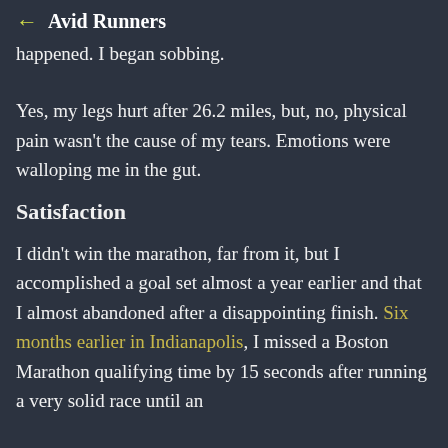← Avid Runners
happened. I began sobbing.
Yes, my legs hurt after 26.2 miles, but, no, physical pain wasn't the cause of my tears. Emotions were walloping me in the gut.
Satisfaction
I didn't win the marathon, far from it, but I accomplished a goal set almost a year earlier and that I almost abandoned after a disappointing finish. Six months earlier in Indianapolis, I missed a Boston Marathon qualifying time by 15 seconds after running a very solid race until an